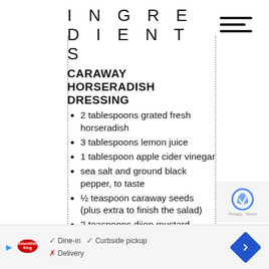INGREDIENTS
CARAWAY HORSERADISH DRESSING
2 tablespoons grated fresh horseradish
3 tablespoons lemon juice
1 tablespoon apple cider vinegar
sea salt and ground black pepper, to taste
½ teaspoon caraway seeds (plus extra to finish the salad)
2 teaspoons dijon mustard
1 tablespoon maple syrup
3 tablespoon olive oil
1 tablespoon flaxseed oil (or more olive oil)
SALAD